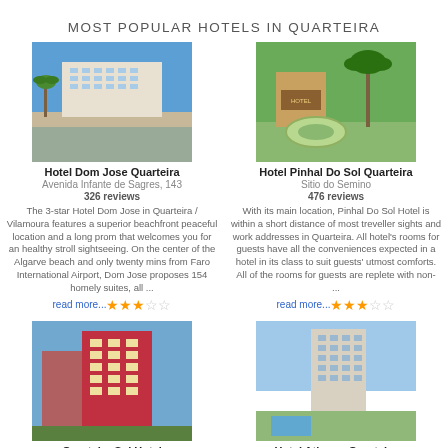MOST POPULAR HOTELS IN QUARTEIRA
[Figure (photo): Hotel Dom Jose Quarteira building exterior]
Hotel Dom Jose Quarteira
Avenida Infante de Sagres, 143
326 reviews
The 3-star Hotel Dom Jose in Quarteira / Vilamoura features a superior beachfront peaceful location and a long prom that welcomes you for an healthy stroll sightseeing. On the center of the Algarve beach and only twenty mins from Faro International Airport, Dom Jose proposes 154 homely suites, all ...
read more... ★★★☆☆
[Figure (photo): Hotel Pinhal Do Sol Quarteira exterior with palm trees]
Hotel Pinhal Do Sol Quarteira
Sitio do Semino
476 reviews
With its main location, Pinhal Do Sol Hotel is within a short distance of most treveller sights and work addresses in Quarteira. All hotel's rooms for guests have all the conveniences expected in a hotel in its class to suit guests' utmost comforts. All of the rooms for guests are replete with non- ...
read more... ★★★☆☆
[Figure (photo): Quarteira Sol Hotel building exterior red/maroon facade]
Quarteira Sol Hotel
Avenida Francisco Sa Carneiro
86 reviews
The inn was absolutely renovated on Summer 2008 providing a cautiously
[Figure (photo): Hotel Atismar Quarteira tall building exterior]
Hotel Atismar Quarteira
Avenida Dr. Francisco Sa Carneiro
50 reviews
Scenic property, good value for money. Advised. dds 01/08All the suites are cozy